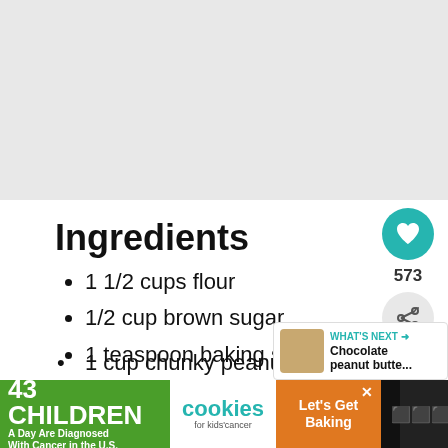[Figure (photo): Top image area, appears blank/light gray - food photo cropped out]
Ingredients
1 1/2 cups flour
1/2 cup brown sugar
1 teaspoon baking soda
1 teaspoon baking powder
1 dash salt
1 cup chunky peanut butter
[Figure (photo): Chocolate peanut butter thumbnail for What's Next section]
WHAT'S NEXT → Chocolate peanut butte...
[Figure (photo): Advertisement banner: 43 Children A Day Are Diagnosed With Cancer in the U.S. cookies for kids' cancer Let's Get Baking]